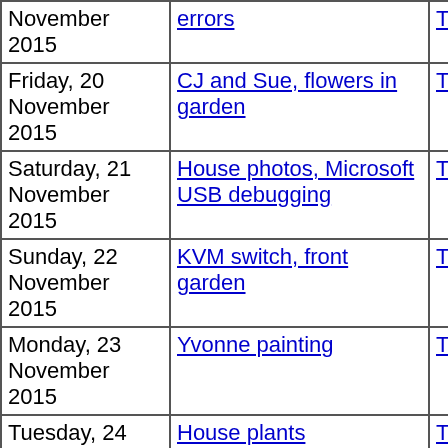| Date | Description | Thumbnails | Small photos | diary |
| --- | --- | --- | --- | --- |
| November 2015 | errors | Thumbnails | Small photos | diary |
| Friday, 20 November 2015 | CJ and Sue, flowers in garden | Thumbnails | Small photos | diary |
| Saturday, 21 November 2015 | House photos, Microsoft USB debugging | Thumbnails | Small photos | diary |
| Sunday, 22 November 2015 | KVM switch, front garden | Thumbnails | Small photos | diary |
| Monday, 23 November 2015 | Yvonne painting | Thumbnails | Small photos | diary |
| Tuesday, 24 November 2015 | House plants | Thumbnails | Small photos | diary |
| Wednesday, 25 November 2015 | Upgrading eureka, Rani's pedigree | Thumbnails | Small photos | diary |
| Saturday |  |  |  |  |